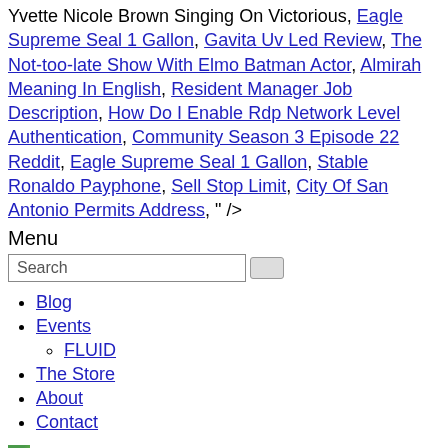Yvette Nicole Brown Singing On Victorious, Eagle Supreme Seal 1 Gallon, Gavita Uv Led Review, The Not-too-late Show With Elmo Batman Actor, Almirah Meaning In English, Resident Manager Job Description, How Do I Enable Rdp Network Level Authentication, Community Season 3 Episode 22 Reddit, Eagle Supreme Seal 1 Gallon, Stable Ronaldo Payphone, Sell Stop Limit, City Of San Antonio Permits Address, " />
Menu
Search
Blog
Events
FLUID
The Store
About
Contact
[Figure (logo): Courtney Act logo image with green square icon followed by 'Courtney Act' text link]
Blog
Courtney Act
Events
Where's Courtney?
FLUID
The Store